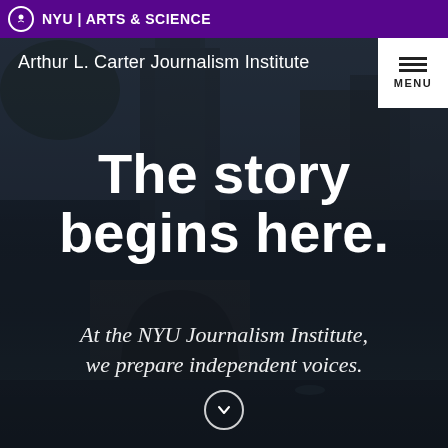NYU | ARTS & SCIENCE
[Figure (photo): Background photo of Washington Square Arch and New York City buildings at dusk with dark overlay]
Arthur L. Carter Journalism Institute
The story begins here.
At the NYU Journalism Institute, we prepare independent voices.